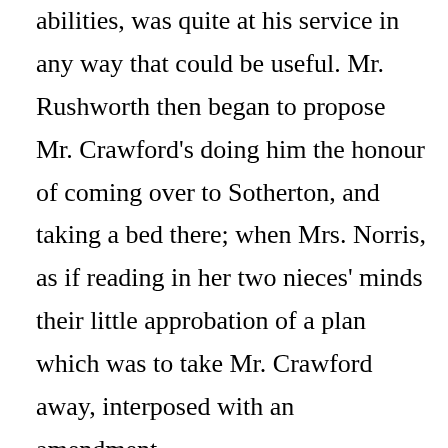abilities, was quite at his service in any way that could be useful. Mr. Rushworth then began to propose Mr. Crawford's doing him the honour of coming over to Sotherton, and taking a bed there; when Mrs. Norris, as if reading in her two nieces' minds their little approbation of a plan which was to take Mr. Crawford away, interposed with an amendment.

“There can be no doubt of Mr. Crawford’s willingness; but why should not more of us go? Why should not we make a little party? Here are